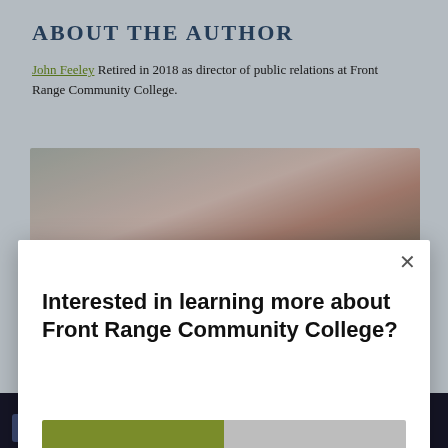ABOUT THE AUTHOR
John Feeley Retired in 2018 as director of public relations at Front Range Community College.
[Figure (photo): Partial photo of a person, cropped, showing blurred background with teal and gray colors]
Interested in learning more about Front Range Community College?
Yes please!
No thanks.
AddThis